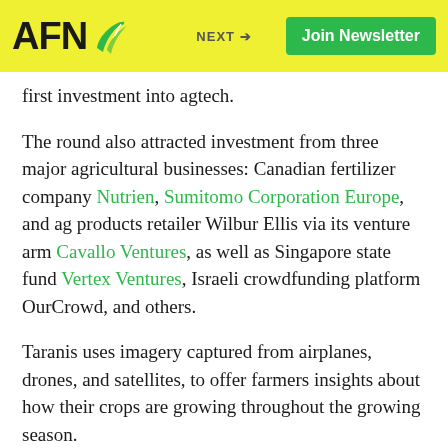AFN | NEXT + | Join Newsletter
first investment into agtech.
The round also attracted investment from three major agricultural businesses: Canadian fertilizer company Nutrien, Sumitomo Corporation Europe, and ag products retailer Wilbur Ellis via its venture arm Cavallo Ventures, as well as Singapore state fund Vertex Ventures, Israeli crowdfunding platform OurCrowd, and others.
Taranis uses imagery captured from airplanes, drones, and satellites, to offer farmers insights about how their crops are growing throughout the growing season.